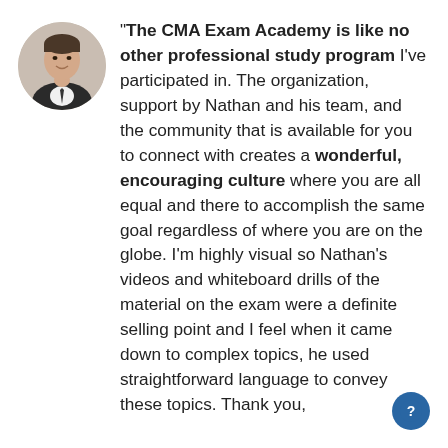[Figure (photo): Circular profile photo of a man in a suit and tie]
"The CMA Exam Academy is like no other professional study program I've participated in. The organization, support by Nathan and his team, and the community that is available for you to connect with creates a wonderful, encouraging culture where you are all equal and there to accomplish the same goal regardless of where you are on the globe. I'm highly visual so Nathan's videos and whiteboard drills of the material on the exam were a definite selling point and I feel when it came down to complex topics, he used straightforward language to convey these topics. Thank you,